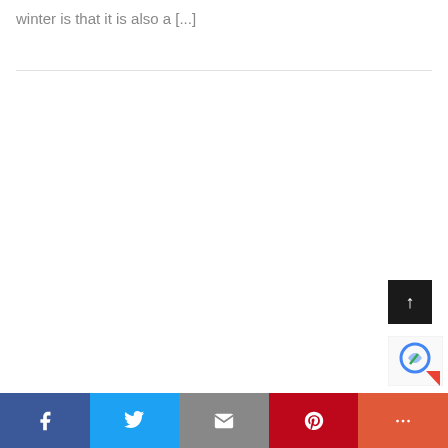winter is that it is also a [...]
[Figure (other): Back to top button (dark square with upward arrow) and reCAPTCHA badge]
[Figure (other): Social sharing bar with Facebook, Twitter, Email, Pinterest, and More buttons]